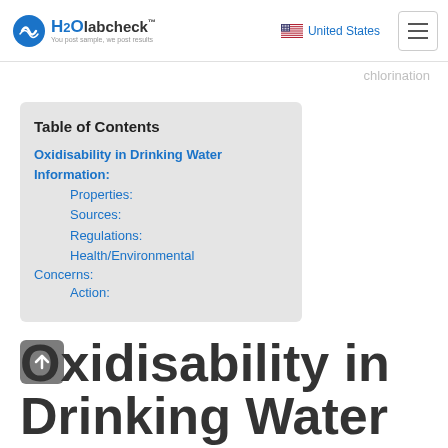H2O labcheck | United States
chlorination
| Table of Contents |
| --- |
| Oxidisability in Drinking Water Information: |
| Properties: |
| Sources: |
| Regulations: |
| Health/Environmental Concerns: |
| Action: |
Oxidisability in Drinking Water